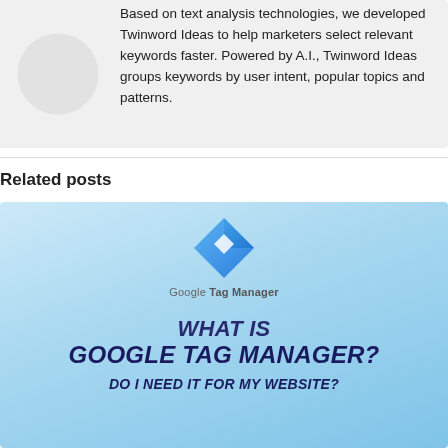Based on text analysis technologies, we developed Twinword Ideas to help marketers select relevant keywords faster. Powered by A.I., Twinword Ideas groups keywords by user intent, popular topics and patterns.
Related posts
[Figure (infographic): Google Tag Manager promotional image with blue gradient background, Google Tag Manager logo and diamond icon, text reading WHAT IS GOOGLE TAG MANAGER? DO I NEED IT FOR MY WEBSITE?]